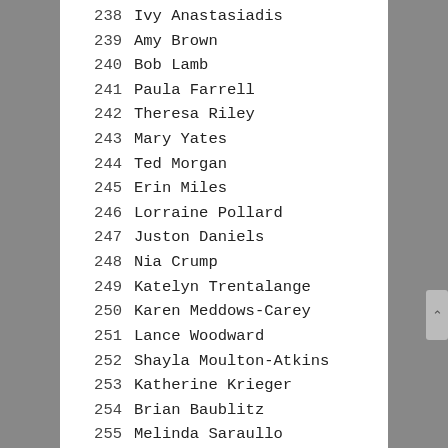238    Ivy Anastasiadis
239    Amy Brown
240    Bob Lamb
241    Paula Farrell
242    Theresa Riley
243    Mary Yates
244    Ted Morgan
245    Erin Miles
246    Lorraine Pollard
247    Juston Daniels
248    Nia Crump
249    Katelyn Trentalange
250    Karen Meddows-Carey
251    Lance Woodward
252    Shayla Moulton-Atkins
253    Katherine Krieger
254    Brian Baublitz
255    Melinda Saraullo
256    Ave Childrey